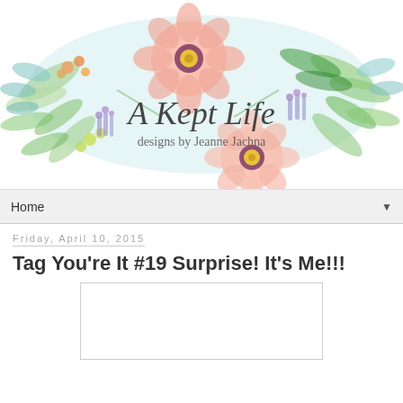[Figure (illustration): Watercolor floral wreath header banner with text 'A Kept Life' in cursive and 'designs by Jeanne Jachna' below. Features pink flowers, green leaves, orange berries, purple lavender, and a teal/blue background shape.]
Home ▼
Friday, April 10, 2015
Tag You're It #19 Surprise! It's Me!!!
[Figure (photo): White/blank image placeholder rectangle]